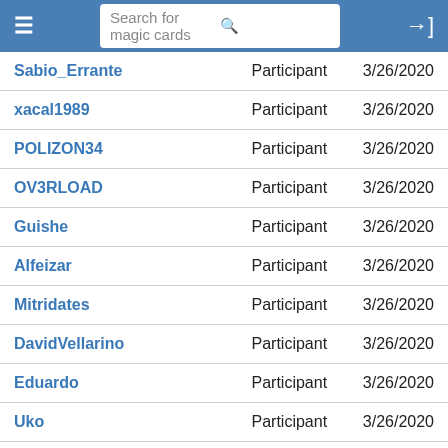Search for magic cards
| Username | Role | Date |
| --- | --- | --- |
| Sabio_Errante | Participant | 3/26/2020 |
| xacal1989 | Participant | 3/26/2020 |
| POLIZON34 | Participant | 3/26/2020 |
| OV3RLOAD | Participant | 3/26/2020 |
| Guishe | Participant | 3/26/2020 |
| Alfeizar | Participant | 3/26/2020 |
| Mitridates | Participant | 3/26/2020 |
| DavidVellarino | Participant | 3/26/2020 |
| Eduardo | Participant | 3/26/2020 |
| Uko | Participant | 3/26/2020 |
| JuanjoCavaller | Participant | 3/26/2020 |
| leinadogeid | Participant | 3/26/2020 |